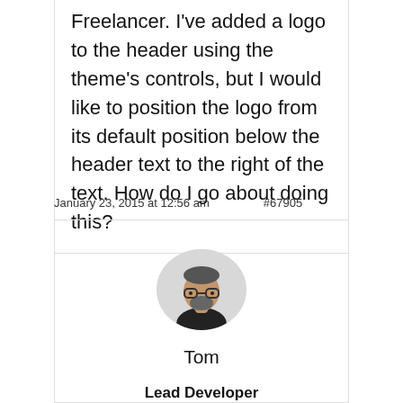Freelancer. I've added a logo to the header using the theme's controls, but I would like to position the logo from its default position below the header text to the right of the text. How do I go about doing this?
January 23, 2015 at 12:56 am    #67905
[Figure (photo): Circular avatar photo of Tom, a man with glasses and a beard wearing a black shirt, on a light grey background]
Tom
Lead Developer